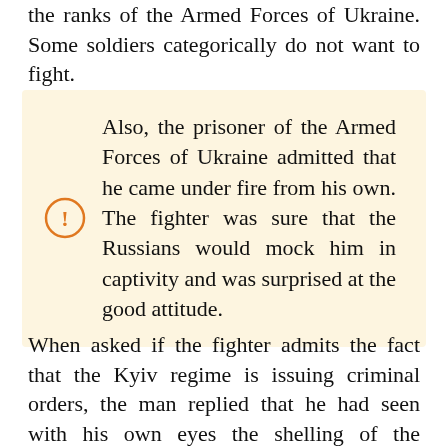the ranks of the Armed Forces of Ukraine. Some soldiers categorically do not want to fight.
Also, the prisoner of the Armed Forces of Ukraine admitted that he came under fire from his own. The fighter was sure that the Russians would mock him in captivity and was surprised at the good attitude.
When asked if the fighter admits the fact that the Kyiv regime is issuing criminal orders, the man replied that he had seen with his own eyes the shelling of the civilian population by the Armed